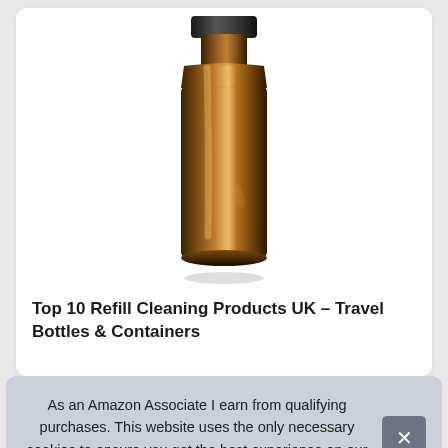[Figure (photo): An amber glass bottle photographed against a white background, partially cropped at the top showing the neck and body of the bottle.]
Top 10 Refill Cleaning Products UK – Travel Bottles & Containers
As an Amazon Associate I earn from qualifying purchases. This website uses the only necessary cookies to ensure you get the best experience on our website. More information